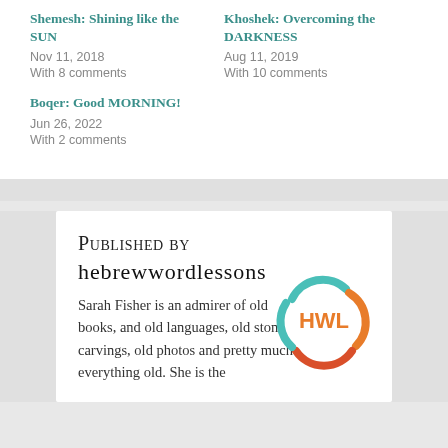Shemesh: Shining like the SUN
Nov 11, 2018
With 8 comments
Khoshek: Overcoming the DARKNESS
Aug 11, 2019
With 10 comments
Boqer: Good MORNING!
Jun 26, 2022
With 2 comments
Published by hebrewwordlessons
Sarah Fisher is an admirer of old books, and old languages, old stone carvings, old photos and pretty much everything old. She is the
[Figure (logo): HWL logo — circular multicolor ring (teal, orange, red) with orange bold letters HWL in the center on white background]